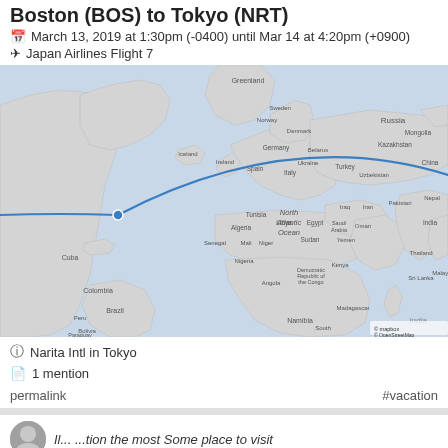Boston (BOS) to Tokyo (NRT)
March 13, 2019 at 1:30pm (-0400) until Mar 14 at 4:20pm (+0900)
Japan Airlines Flight 7
[Figure (map): World map showing a flight path arc from Boston (BOS) on the east coast of North America across the North Atlantic and northern Europe/Russia to Tokyo (NRT), Japan. The great circle route is shown as a blue curved line. Map labels include North Atlantic Ocean, countries and regions visible.]
Narita Intl in Tokyo
1 mention
permalink
#vacation
Il... ...tion the most Some place to visit